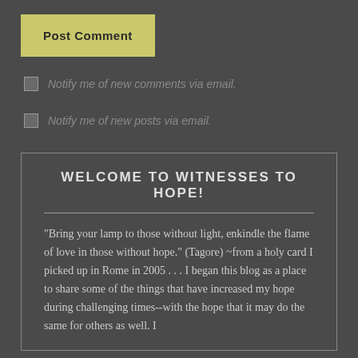Post Comment
Notify me of new comments via email.
Notify me of new posts via email.
WELCOME TO WITNESSES TO HOPE!
"Bring your lamp to those without light, enkindle the flame of love in those without hope." (Tagore) ~from a holy card I picked up in Rome in 2005 . . . I began this blog as a place to share some of the things that have increased my hope during challenging times--with the hope that it may do the same for others as well. I